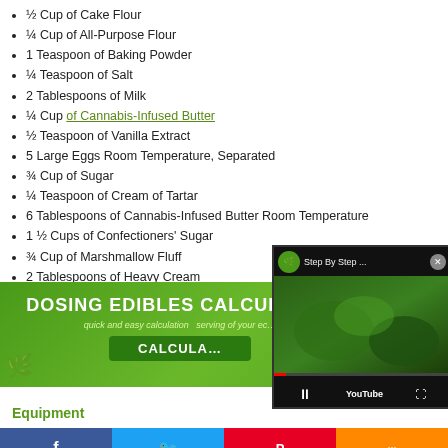½ Cup of Cake Flour
¼ Cup of All-Purpose Flour
1 Teaspoon of Baking Powder
¼ Teaspoon of Salt
2 Tablespoons of Milk
¼ Cup of Cannabis-Infused Butter
½ Teaspoon of Vanilla Extract
5 Large Eggs Room Temperature, Separated
¾ Cup of Sugar
¼ Teaspoon of Cream of Tartar
6 Tablespoons of Cannabis-Infused Butter Room Temperature
1 ½ Cups of Confectioners' Sugar
¾ Cup of Marshmallow Fluff
2 Tablespoons of Heavy Cream
[Figure (infographic): Green banner ad for Dosing Edibles Calculator with white bold text and a Calculate button]
[Figure (screenshot): YouTube video overlay showing cannabis Step By Step video with playback controls]
Equipment
[Figure (infographic): Social media share bar with Facebook, Twitter, Pinterest, and more buttons]